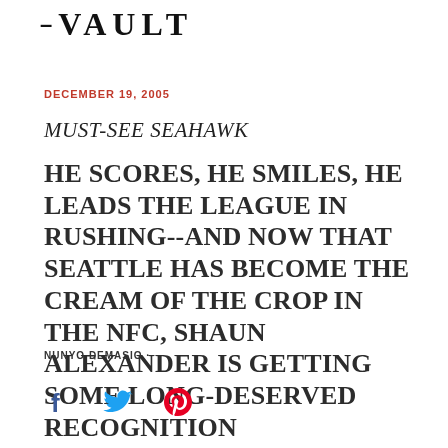– VAULT
DECEMBER 19, 2005
MUST-SEE SEAHAWK
HE SCORES, HE SMILES, HE LEADS THE LEAGUE IN RUSHING--AND NOW THAT SEATTLE HAS BECOME THE CREAM OF THE CROP IN THE NFC, SHAUN ALEXANDER IS GETTING SOME LONG-DESERVED RECOGNITION
NUNYO DEMASIO ·
[Figure (infographic): Social media share icons: Facebook (blue f), Twitter (blue bird), Pinterest (red P)]